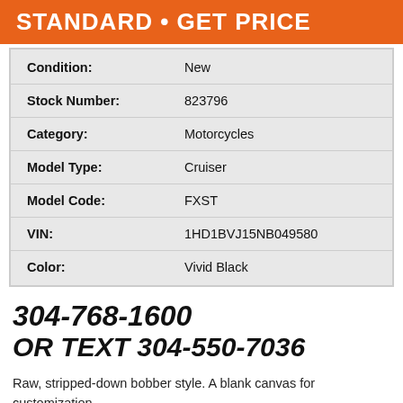STANDARD • GET PRICE
| Field | Value |
| --- | --- |
| Condition: | New |
| Stock Number: | 823796 |
| Category: | Motorcycles |
| Model Type: | Cruiser |
| Model Code: | FXST |
| VIN: | 1HD1BVJ15NB049580 |
| Color: | Vivid Black |
304-768-1600
OR TEXT 304-550-7036
Raw, stripped-down bobber style. A blank canvas for customization.